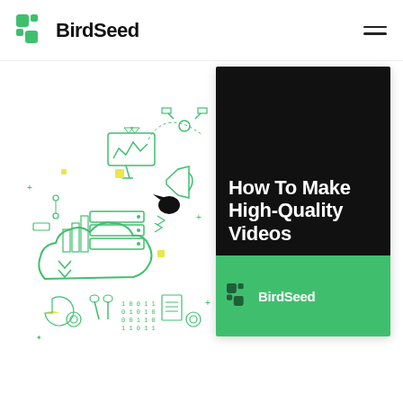BirdSeed
[Figure (illustration): Green line-art technology illustration showing interconnected cloud computing, servers, satellites, charts, tools, binary code, and data elements in a circular composition]
[Figure (other): Book cover card with black top section showing 'How To Make High-Quality Videos' in white bold text, and green bottom section with BirdSeed logo in white]